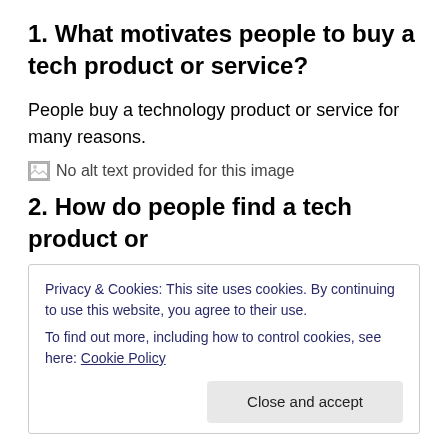1. What motivates people to buy a tech product or service?
People buy a technology product or service for many reasons.
[Figure (other): Broken image placeholder with text: No alt text provided for this image]
2. How do people find a tech product or
Privacy & Cookies: This site uses cookies. By continuing to use this website, you agree to their use.
To find out more, including how to control cookies, see here: Cookie Policy
[Figure (other): Broken image placeholder at bottom of page]